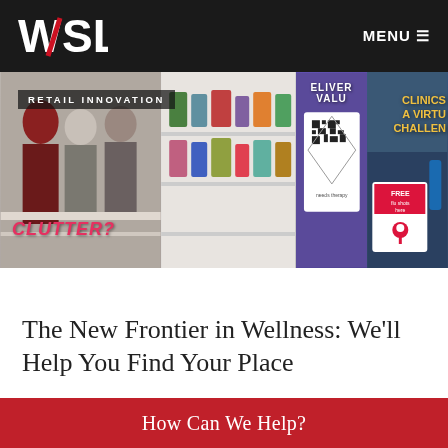[Figure (logo): WSL logo — white stylized W/SL letters with red diagonal slash on dark background]
MENU ☰
[Figure (photo): Retail innovation banner composed of multiple panels: shoppers browsing, product shelf, QR code display screen, pharmacy/clinic signage. Overlay text: RETAIL INNOVATION, DELIVER VALUE, CLUTTER?, CLINICS A VIRTUAL CHALLENGE, FREE flu shots here]
The New Frontier in Wellness: We'll Help You Find Your Place
How Can We Help?